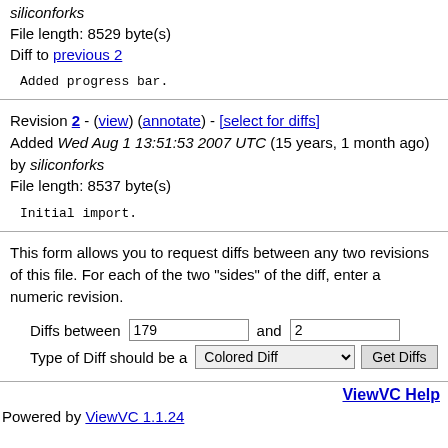siliconforks
File length: 8529 byte(s)
Diff to previous 2
Added progress bar.
Revision 2 - (view) (annotate) - [select for diffs]
Added Wed Aug 1 13:51:53 2007 UTC (15 years, 1 month ago) by siliconforks
File length: 8537 byte(s)
Initial import.
This form allows you to request diffs between any two revisions of this file. For each of the two "sides" of the diff, enter a numeric revision.
Diffs between 179 and 2
Type of Diff should be a Colored Diff [Get Diffs]
ViewVC Help
Powered by ViewVC 1.1.24